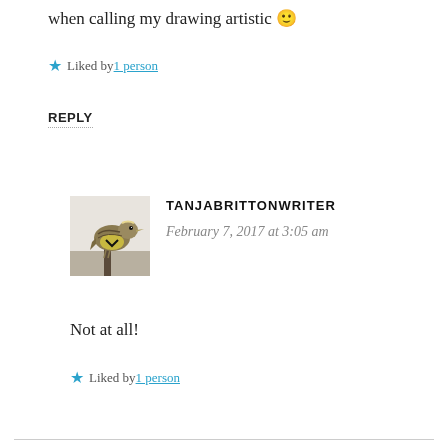when calling my drawing artistic 🙂
★ Liked by 1 person
REPLY
[Figure (photo): Avatar photo of a meadowlark bird perched on a post]
TANJABRITTONWRITER
February 7, 2017 at 3:05 am
Not at all!
★ Liked by 1 person